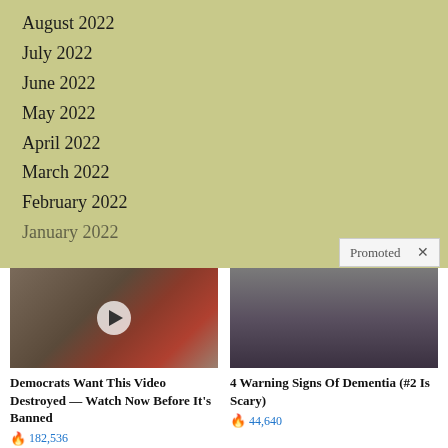August 2022
July 2022
June 2022
May 2022
April 2022
March 2022
February 2022
January 2022
Promoted ×
[Figure (photo): Promotional ad image showing two people with a video play button overlay. Title: Democrats Want This Video Destroyed — Watch Now Before It's Banned. Count: 182,536]
[Figure (photo): Promotional ad image showing an elderly person seated. Title: 4 Warning Signs Of Dementia (#2 Is Scary). Count: 44,640]